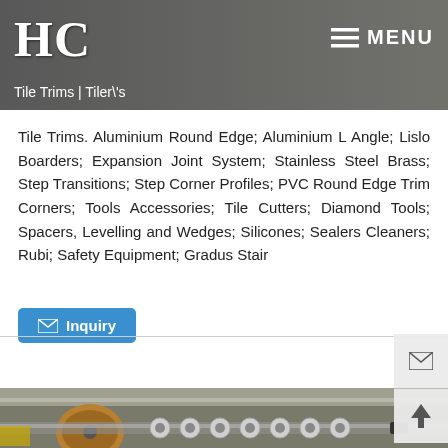HC | Tiler\'s
Tile Trims. Aluminium Round Edge; Aluminium L Angle; Lislo Boarders; Expansion Joint System; Stainless Steel Brass; Step Transitions; Step Corner Profiles; PVC Round Edge Trim Corners; Tools Accessories; Tile Cutters; Diamond Tools; Spacers, Levelling and Wedges; Silicones; Sealers Cleaners; Rubi; Safety Equipment; Gradus Stair
[Figure (photo): Industrial machinery showing a metal roller/spindle with disc components in a manufacturing facility]
[Figure (screenshot): Inquiry button in blue and side navigation icons]